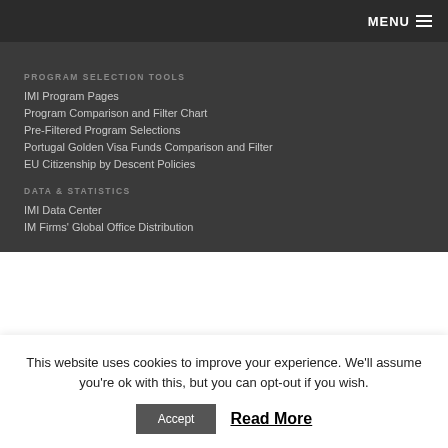MENU
PROGRAM SELECTION TOOLS
IMI Program Pages
Program Comparison and Filter Chart
Pre-Filtered Program Selections
Portugal Golden Visa Funds Comparison and Filter
EU Citizenship by Descent Policies
DATA & STATISTICS
IMI Data Center
IM Firms' Global Office Distribution
This website uses cookies to improve your experience. We'll assume you're ok with this, but you can opt-out if you wish.
Accept
Read More